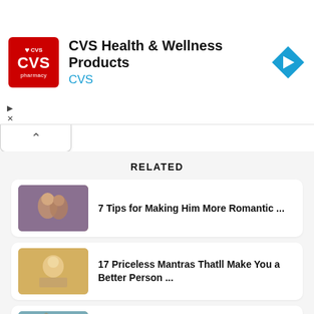[Figure (screenshot): CVS Health & Wellness Products advertisement banner with CVS Pharmacy red logo, navigation arrow diamond icon, and play/close controls]
CVS Health & Wellness Products CVS
RELATED
[Figure (photo): Couple kissing romantically]
7 Tips for Making Him More Romantic ...
[Figure (photo): Woman with thoughtful expression]
17 Priceless Mantras Thatll Make You a Better Person ...
[Figure (photo): Gothic cathedral and couple]
9 Fantastical and Mindbending Time Travel Movies ...
[Figure (photo): Couple in outdoor setting]
Signs he is in love with you